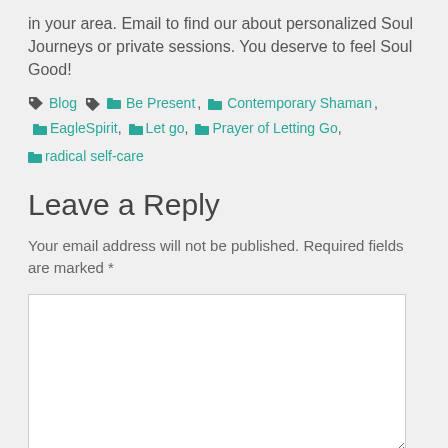in your area. Email to find our about personalized Soul Journeys or private sessions. You deserve to feel Soul Good!
Blog | Be Present, Contemporary Shaman, EagleSpirit, Let go, Prayer of Letting Go, radical self-care
Leave a Reply
Your email address will not be published. Required fields are marked *
[Figure (other): Comment text area input box]
Name *